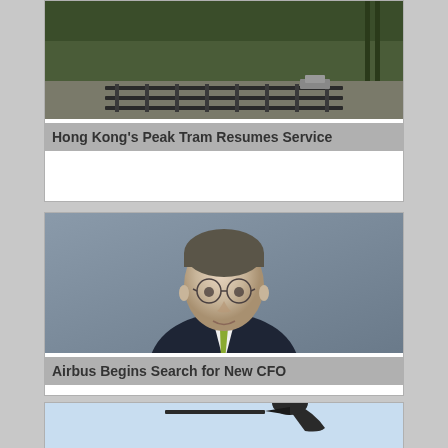[Figure (photo): Tram tracks on a surface, Hong Kong Peak Tram infrastructure]
Hong Kong's Peak Tram Resumes Service
[Figure (photo): Portrait of a middle-aged man with glasses wearing a dark suit and green tie, Airbus CFO]
Airbus Begins Search for New CFO
[Figure (photo): A bird, partially visible, against a light blue sky background]